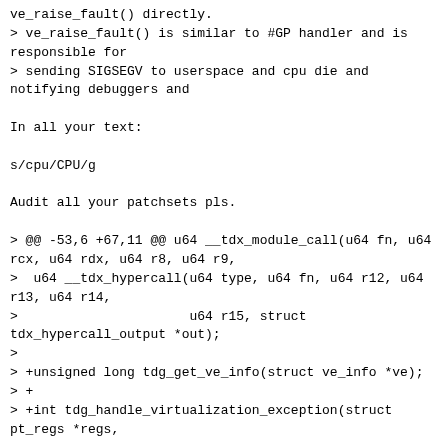ve_raise_fault() directly.
> ve_raise_fault() is similar to #GP handler and is responsible for
> sending SIGSEGV to userspace and cpu die and notifying debuggers and

In all your text:

s/cpu/CPU/g

Audit all your patchsets pls.

> @@ -53,6 +67,11 @@ u64 __tdx_module_call(u64 fn, u64 rcx, u64 rdx, u64 r8, u64 r9,
>  u64 __tdx_hypercall(u64 type, u64 fn, u64 r12, u64 r13, u64 r14,
>                      u64 r15, struct tdx_hypercall_output *out);
> 
> +unsigned long tdg_get_ve_info(struct ve_info *ve);
> +
> +int tdg_handle_virtualization_exception(struct pt_regs *regs,

There's that "tdg" prefix again. Please fix all your patchsets.

> +                                          struct ve_info *ve);
> +